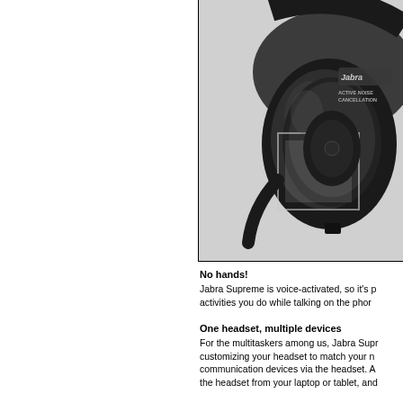[Figure (photo): A Jabra Supreme Bluetooth headset shown in close-up, black with dark leather ear cushion, displaying the 'Jabra' branding and 'Active Noise Cancellation' text on the earcup. A translucent square design element overlays the image. The background is light gray.]
No hands! Jabra Supreme is voice-activated, so it's p... activities you do while talking on the phor...
One headset, multiple devices For the multitaskers among us, Jabra Supr... customizing your headset to match your n... communication devices via the headset. A... the headset from your laptop or tablet, and...